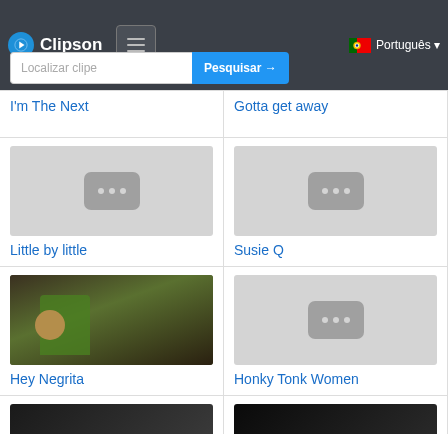[Figure (screenshot): Clipson website navigation bar with logo, hamburger menu, Portuguese language selector, and search bar with 'Localizar clipe' placeholder and 'Pesquisar →' button]
I'm The Next
Gotta get away
[Figure (illustration): Placeholder thumbnail for 'Little by little' clip]
Little by little
[Figure (illustration): Placeholder thumbnail for 'Susie Q' clip]
Susie Q
[Figure (photo): Photo thumbnail for 'Hey Negrita' clip showing performer in green outfit]
Hey Negrita
[Figure (illustration): Placeholder thumbnail for 'Honky Tonk Women' clip]
Honky Tonk Women
[Figure (photo): Partially visible thumbnail at bottom left]
[Figure (photo): Partially visible thumbnail at bottom right]